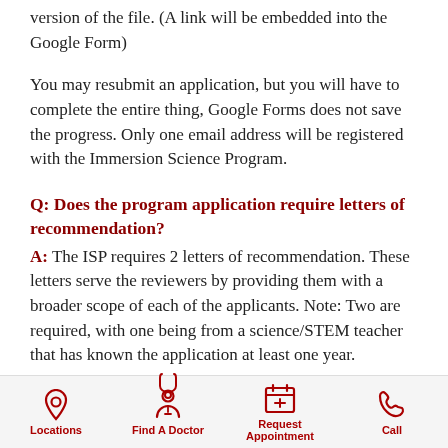version of the file. (A link will be embedded into the Google Form)
You may resubmit an application, but you will have to complete the entire thing, Google Forms does not save the progress. Only one email address will be registered with the Immersion Science Program.
Q: Does the program application require letters of recommendation?
A: The ISP requires 2 letters of recommendation. These letters serve the reviewers by providing them with a broader scope of each of the applicants. Note: Two are required, with one being from a science/STEM teacher that has known the application at least one year.
Locations | Find A Doctor | Request Appointment | Call